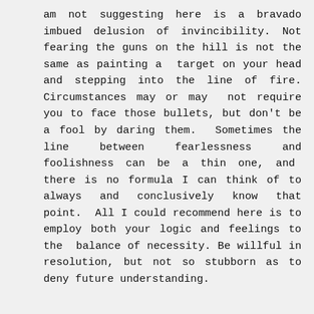am not suggesting here is a bravado imbued delusion of invincibility. Not fearing the guns on the hill is not the same as painting a target on your head and stepping into the line of fire. Circumstances may or may not require you to face those bullets, but don't be a fool by daring them. Sometimes the line between fearlessness and foolishness can be a thin one, and there is no formula I can think of to always and conclusively know that point. All I could recommend here is to employ both your logic and feelings to the balance of necessity. Be willful in resolution, but not so stubborn as to deny future understanding.

Finding fears and interferences within you can be a challenging task, for many of them hide in the camouflage of subtlety. For myself, I have often found